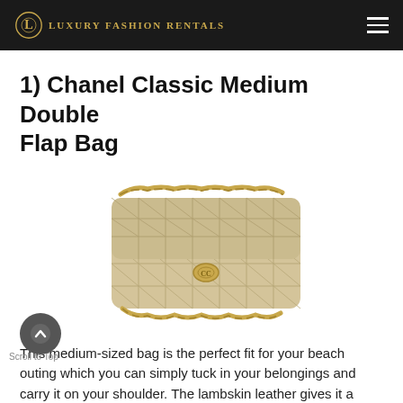LUXURY FASHION RENTALS
1) Chanel Classic Medium Double Flap Bag
[Figure (photo): Chanel Classic Medium Double Flap Bag in beige/tan woven tweed material with gold chain strap, viewed from front-side angle on white background]
This medium-sized bag is the perfect fit for your beach outing which you can simply tuck in your belongings and carry it on your shoulder. The lambskin leather gives it a classic look and a soft touch, so go ahead and rent this